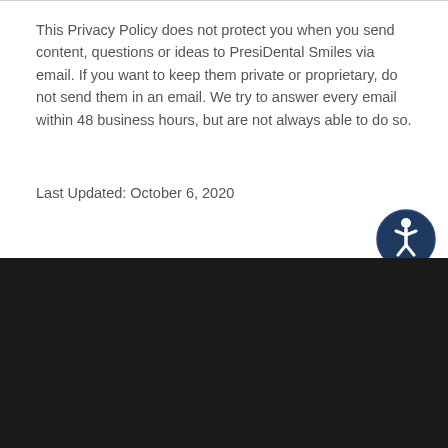This Privacy Policy does not protect you when you send content, questions or ideas to PresiDental Smiles via email. If you want to keep them private or proprietary, do not send them in an email. We try to answer every email within 48 business hours, but are not always able to do so.
Last Updated: October 6, 2020
[Figure (illustration): Circular accessibility icon button with dark navy background and white person/wheelchair figure]
PresiDental Smiles
2/204-206 Warrandyte Rd
Ringwood North, VIC 3134
Phone: (03) 9013 0100
Copyright | Legal | Privacy | Accessibility | Sitemap
Smile Marketing